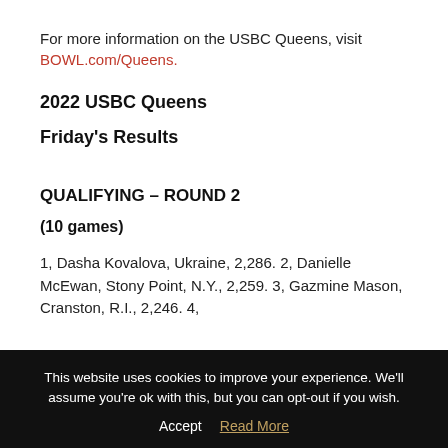For more information on the USBC Queens, visit BOWL.com/Queens.
2022 USBC Queens
Friday's Results
QUALIFYING – ROUND 2
(10 games)
1, Dasha Kovalova, Ukraine, 2,286. 2, Danielle McEwan, Stony Point, N.Y., 2,259. 3, Gazmine Mason, Cranston, R.I., 2,246. 4,
This website uses cookies to improve your experience. We'll assume you're ok with this, but you can opt-out if you wish. Accept Read More